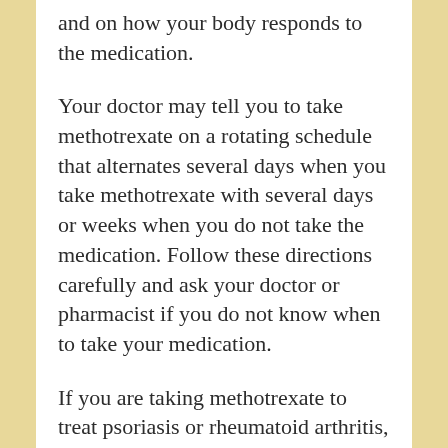and on how your body responds to the medication.
Your doctor may tell you to take methotrexate on a rotating schedule that alternates several days when you take methotrexate with several days or weeks when you do not take the medication. Follow these directions carefully and ask your doctor or pharmacist if you do not know when to take your medication.
If you are taking methotrexate to treat psoriasis or rheumatoid arthritis, your doctor may tell you